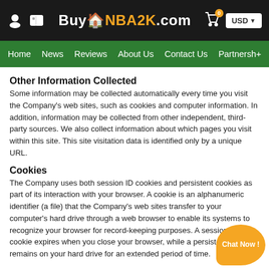BuyNBA2K.com — USD
Home | News | Reviews | About Us | Contact Us | Partnership
Other Information Collected
Some information may be collected automatically every time you visit the Company's web sites, such as cookies and computer information. In addition, information may be collected from other independent, third-party sources. We also collect information about which pages you visit within this site. This site visitation data is identified only by a unique URL.
Cookies
The Company uses both session ID cookies and persistent cookies as part of its interaction with your browser. A cookie is an alphanumeric identifier (a file) that the Company's web sites transfer to your computer's hard drive through a web browser to enable its systems to recognize your browser for record-keeping purposes. A session ID cookie expires when you close your browser, while a persistent cookie remains on your hard drive for an extended period of time.